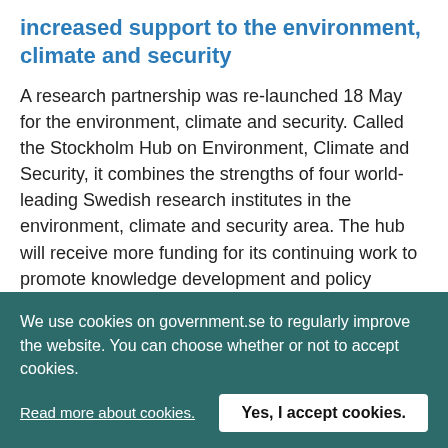increased support to the environment, climate and security
A research partnership was re-launched 18 May for the environment, climate and security. Called the Stockholm Hub on Environment, Climate and Security, it combines the strengths of four world-leading Swedish research institutes in the environment, climate and security area. The hub will receive more funding for its continuing work to promote knowledge development and policy dialogue.
19 May 2022 · Press release from Ann Linde, Matilda Ernkrans, Ministry for Foreign Affairs
Sweden and Poland mobilise the security in...
We use cookies on government.se to regularly improve the website. You can choose whether or not to accept cookies.
Read more about cookies.
Yes, I accept cookies.